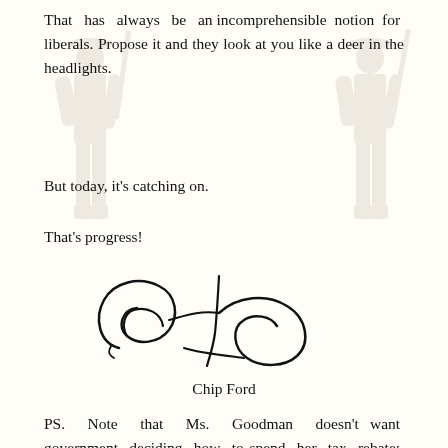That has always be an incomprehensible notion for liberals. Propose it and they look at you like a deer in the headlights.
But today, it's catching on.
That's progress!
[Figure (illustration): Handwritten signature of Chip Ford]
Chip Ford
PS. Note that Ms. Goodman doesn't want government deciding how to spend her tax rebate: "they'll use it for some missile fantasy." I wonder if she yet realizes that we all feel this way, when government takes almost 50